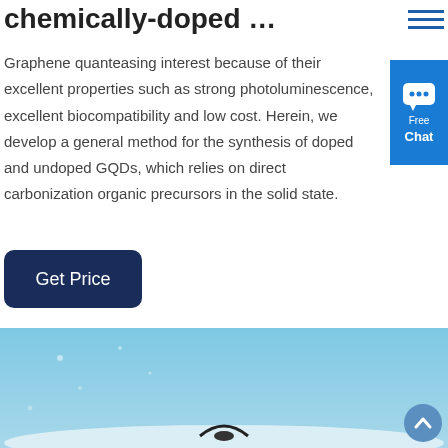chemically-doped …
Graphene quanteasing interest because of their excellent properties such as strong photoluminescence, excellent biocompatibility and low cost. Herein, we develop a general method for the synthesis of doped and undoped GQDs, which relies on direct carbonization organic precursors in the solid state.
[Figure (other): Get Price button — dark navy rounded rectangle]
[Figure (photo): Photo of a seabird or flying object against a blue sky background, partially cropped at bottom of page]